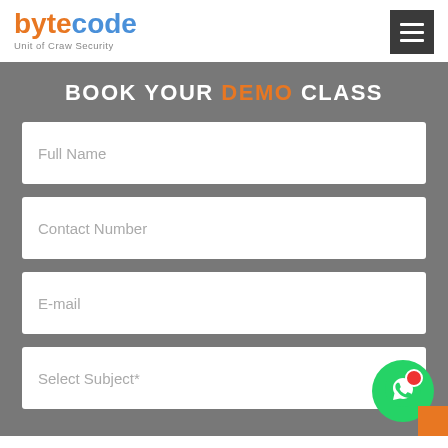[Figure (logo): Bytecode logo with 'byte' in orange and 'code' in blue, subtitle 'Unit of Craw Security']
[Figure (other): Hamburger menu button (three white lines on dark grey square background)]
BOOK YOUR DEMO CLASS
Full Name
Contact Number
E-mail
Select Subject*
[Figure (logo): WhatsApp floating button (green circle with WhatsApp icon) with red notification dot]